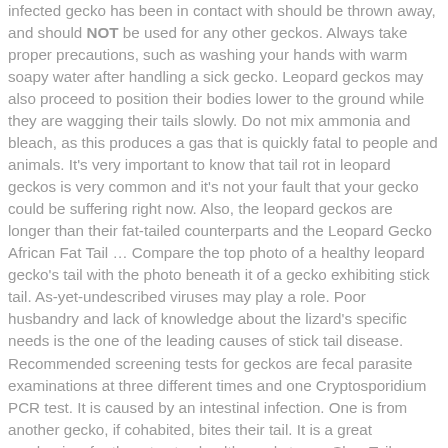infected gecko has been in contact with should be thrown away, and should NOT be used for any other geckos. Always take proper precautions, such as washing your hands with warm soapy water after handling a sick gecko. Leopard geckos may also proceed to position their bodies lower to the ground while they are wagging their tails slowly. Do not mix ammonia and bleach, as this produces a gas that is quickly fatal to people and animals. It's very important to know that tail rot in leopard geckos is very common and it's not your fault that your gecko could be suffering right now. Also, the leopard geckos are longer than their fat-tailed counterparts and the Leopard Gecko African Fat Tail … Compare the top photo of a healthy leopard gecko's tail with the photo beneath it of a gecko exhibiting stick tail. As-yet-undescribed viruses may play a role. Poor husbandry and lack of knowledge about the lizard's specific needs is the one of the leading causes of stick tail disease. Recommended screening tests for geckos are fecal parasite examinations at three different times and one Cryptosporidium PCR test. It is caused by an intestinal infection. One is from another gecko, if cohabited, bites their tail. It is a great mechanism for them to stay healthy and strong. Slow Tail Wagging. This can then make leopard gecko to digest their food improperly. The treatment for stick tail disease is dependent on the underlying cause. Dave Tan. Saddle shaped leopard gecko. Halt It. Clinic T...